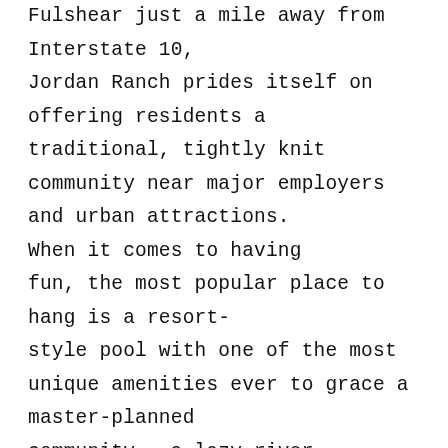Fulshear just a mile away from Interstate 10, Jordan Ranch prides itself on offering residents a traditional, tightly knit community near major employers and urban attractions.

When it comes to having fun, the most popular place to hang is a resort-style pool with one of the most unique amenities ever to grace a master-planned community — a lazy river. Provided inner tubes allow residents to float along the river, which winds around the pool.

Residents also meet up at The Shed to use the state-of-the art fitness